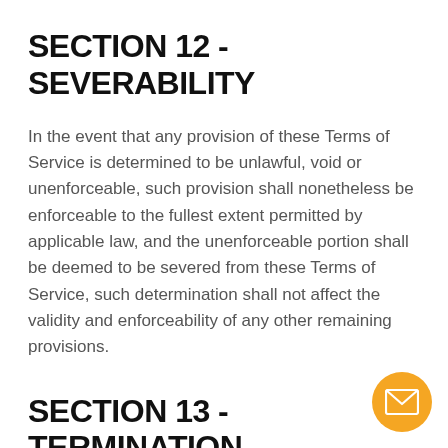SECTION 12 - SEVERABILITY
In the event that any provision of these Terms of Service is determined to be unlawful, void or unenforceable, such provision shall nonetheless be enforceable to the fullest extent permitted by applicable law, and the unenforceable portion shall be deemed to be severed from these Terms of Service, such determination shall not affect the validity and enforceability of any other remaining provisions.
SECTION 13 - TERMINATION
[Figure (illustration): Orange circular email/envelope button icon in bottom-right corner]